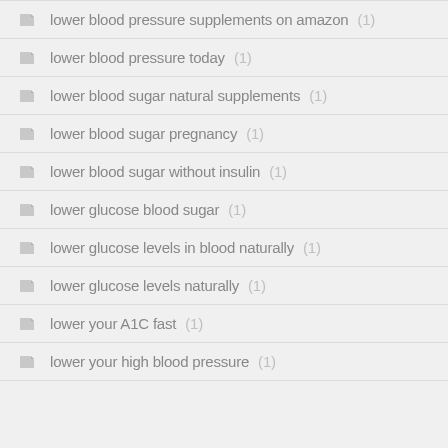lower blood pressure supplements on amazon (1)
lower blood pressure today (1)
lower blood sugar natural supplements (1)
lower blood sugar pregnancy (1)
lower blood sugar without insulin (1)
lower glucose blood sugar (1)
lower glucose levels in blood naturally (1)
lower glucose levels naturally (1)
lower your A1C fast (1)
lower your high blood pressure (1)